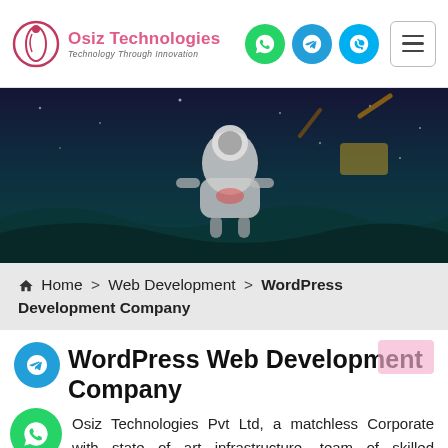[Figure (logo): Osiz Technologies logo with circular icon and text 'Osiz Technologies – Technology Through Innovation']
[Figure (photo): Dark hero banner with a cartoon astronaut figure on a dark teal/navy background]
Home > Web Development > WordPress Development Company
WordPress Web Development Company
Osiz Technologies Pvt Ltd, a matchless Corporate with state of art infrastructure, team of skilled WordPress web developers and latest technologies development expertise. Our attention to product development...